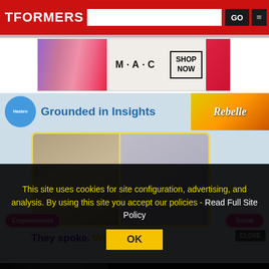TFORMERS
[Figure (screenshot): MAC cosmetics advertisement banner with lipsticks and SHOP NOW button]
[Figure (screenshot): Hasbro Grounded in Insights section with Nerf Rebelle logo, photos of girls with Empowerment and Social buttons, and 'They spoke. We listened.' text]
[Figure (screenshot): Macy's advertisement: KISS BORING LIPS GOODBYE with SHOP NOW button and Macy's star logo]
This site uses cookies for site configuration, advertising, and analysis. By using this site you accept our policies - Read Full Site Policy
OK